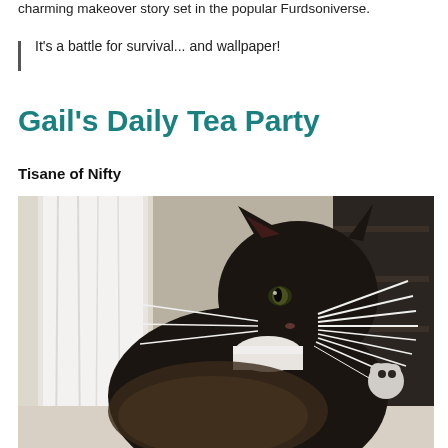charming makeover story set in the popular Furdsoniverse.
It's a battle for survival... and wallpaper!
Gail's Daily Tea Party
Tisane of Nifty
[Figure (photo): A black and dark-furred cat with prominent white whiskers, wearing a white collar, sitting and looking upward to the right, photographed indoors near a window with white curtains and a dark bookshelf in the background.]